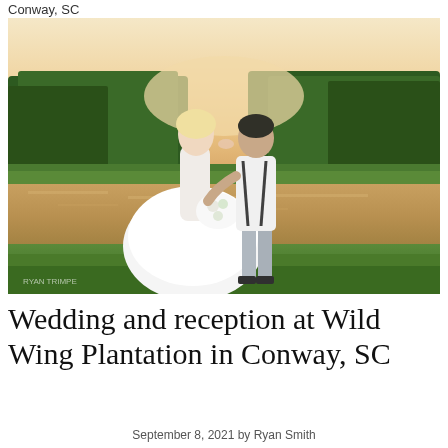Conway, SC
[Figure (photo): Wedding couple kissing outdoors at sunset near a pond with trees in background. Bride in white off-shoulder ball gown holding white floral bouquet, groom in white shirt with suspenders and grey pants.]
Wedding and reception at Wild Wing Plantation in Conway, SC
September 8, 2021 by Ryan Smith